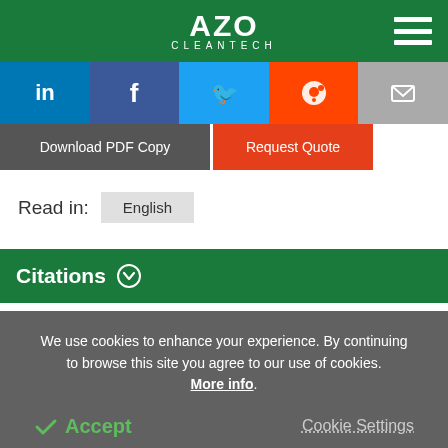AZO CLEANTECH
[Figure (infographic): Social share buttons: LinkedIn, Facebook, Twitter, Reddit, Email]
Download PDF Copy   Request Quote
Read in: English
Citations
We use cookies to enhance your experience. By continuing to browse this site you agree to our use of cookies. More info.
✓ Accept   Cookie Settings